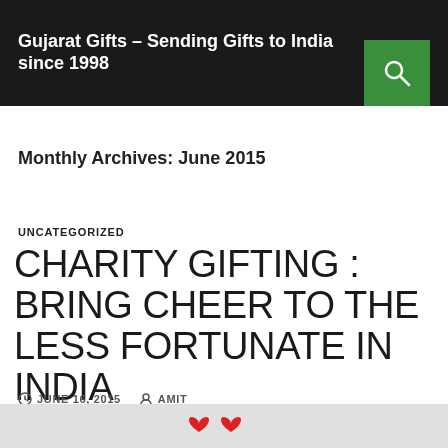Gujarat Gifts – Sending Gifts to India since 1998
Monthly Archives: June 2015
UNCATEGORIZED
CHARITY GIFTING : BRING CHEER TO THE LESS FORTUNATE IN INDIA
JUNE 16, 2015   AMIT
[Figure (photo): Partial image visible at the bottom of the page showing red heart shapes on a light grey background]